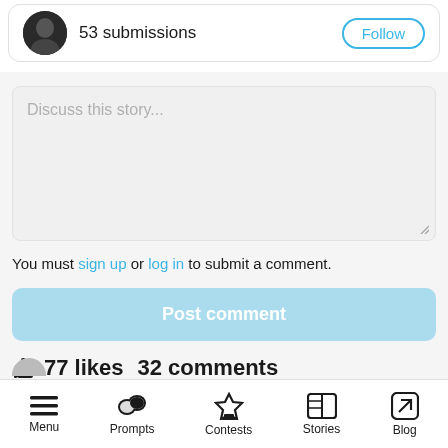53 submissions
Discuss this story...
You must sign up or log in to submit a comment.
Post comment
77 likes  32 comments
Menu  Prompts  Contests  Stories  Blog